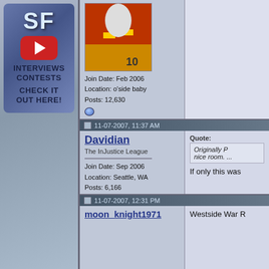[Figure (screenshot): SF YouTube channel banner with logo, YouTube play button, text INTERVIEWS CONTESTS CHECK IT OUT HERE!]
Join Date: Feb 2006
Location: o'side baby
Posts: 12,630
11-07-2007, 11:37 AM
Davidian
The InJustice League
Join Date: Sep 2006
Location: Seattle, WA
Posts: 6,166
Quote:
Originally P... nice room. ...
If only this was
11-07-2007, 12:31 PM
moon_knight1971
Westside War R